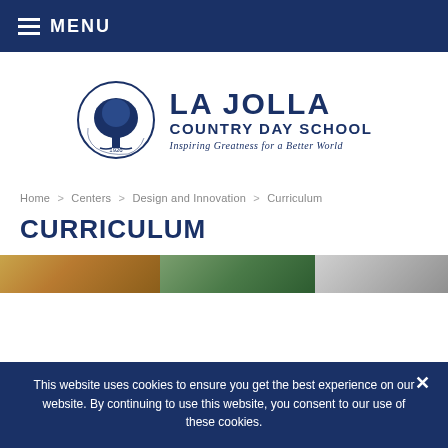≡ MENU
[Figure (logo): La Jolla Country Day School logo with circular tree emblem, text 'LA JOLLA COUNTRY DAY SCHOOL' and tagline 'Inspiring Greatness for a Better World']
Home > Centers > Design and Innovation > Curriculum
CURRICULUM
[Figure (photo): Three partially visible image thumbnails at bottom of page]
This website uses cookies to ensure you get the best experience on our website. By continuing to use this website, you consent to our use of these cookies.